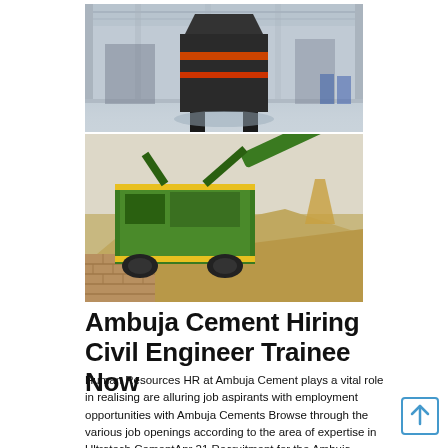[Figure (photo): Interior of an industrial factory/warehouse with large machinery (conveyor or processing equipment) on a polished floor, high ceiling with structural beams]
[Figure (photo): Green mobile crushing/screening machine processing gravel/aggregate material, with piles of crushed stone and brick retaining wall]
Ambuja Cement Hiring Civil Engineer Trainee Now
Human Resources HR at Ambuja Cement plays a vital role in realising are alluring job aspirants with employment opportunities with Ambuja Cements Browse through the various job openings according to the area of expertise in Ultratech CementApr 21 Recruitment for the Ambuja Cement Hiring Civil Engineer Trainee Now jobs in Mumbai Mumbai at Ambuja Cement AasaanJobs provid